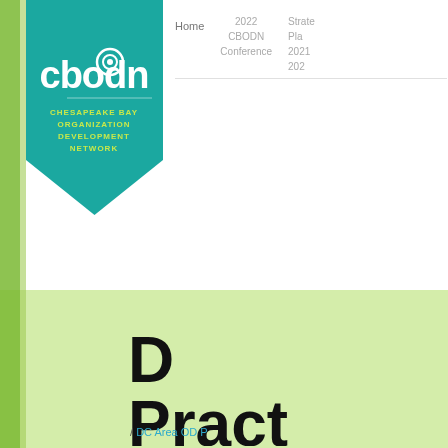[Figure (logo): CBODN logo — teal pentagon/shield shape with 'cbodn' in large white letters and a circular swirl emblem, plus 'CHESAPEAKE BAY ORGANIZATION DEVELOPMENT NETWORK' in lime/yellow text below]
Home    2022 CBODN Conference    Strate Plan 2021 202
D Pract "Th Bod an
/ DC Area OD P